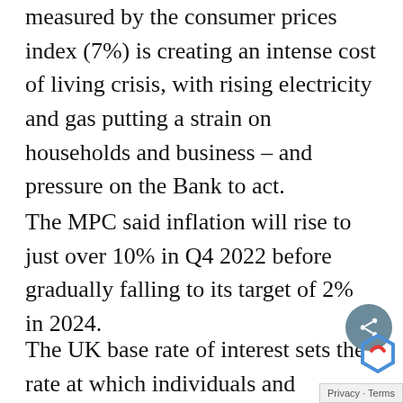measured by the consumer prices index (7%) is creating an intense cost of living crisis, with rising electricity and gas putting a strain on households and business – and pressure on the Bank to act.
The MPC said inflation will rise to just over 10% in Q4 2022 before gradually falling to its target of 2% in 2024.
The UK base rate of interest sets the rate at which individuals and